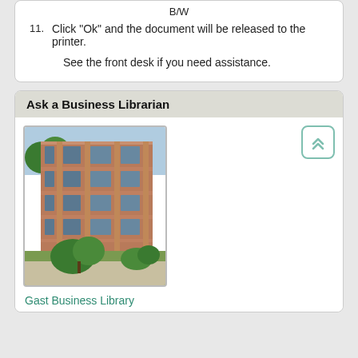B/W
11. Click “Ok” and the document will be released to the printer.
See the front desk if you need assistance.
Ask a Business Librarian
[Figure (photo): Exterior photo of Gast Business Library building, a multi-story brick building with large windows and trees in front.]
Gast Business Library